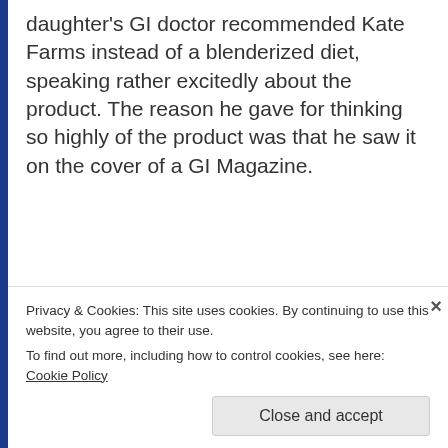daughter's GI doctor recommended Kate Farms instead of a blenderized diet, speaking rather excitedly about the product. The reason he gave for thinking so highly of the product was that he saw it on the cover of a GI Magazine.
[Figure (screenshot): Advertisement banner for DAY ONE journaling app with text 'The only journaling...']
Is this what things have come to? When it comes to tube-fed people, science and data are no longer
Privacy & Cookies: This site uses cookies. By continuing to use this website, you agree to their use.
To find out more, including how to control cookies, see here: Cookie Policy